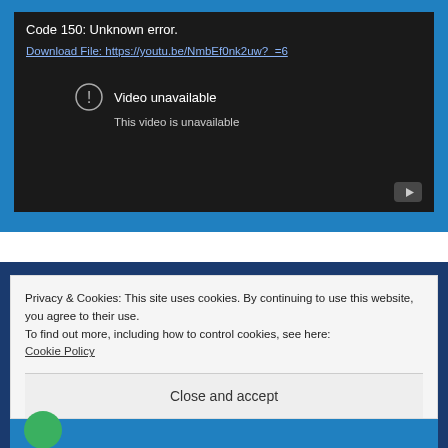[Figure (screenshot): Embedded YouTube video player showing an error state. Black video area with white text 'Code 150: Unknown error.' and a download link 'Download File: https://youtu.be/NmbEf0nk2uw?_=6'. An exclamation circle icon with 'Video unavailable' and 'This video is unavailable' text, plus a YouTube play button icon in the bottom right.]
Privacy & Cookies: This site uses cookies. By continuing to use this website, you agree to their use.
To find out more, including how to control cookies, see here:
Cookie Policy
Close and accept